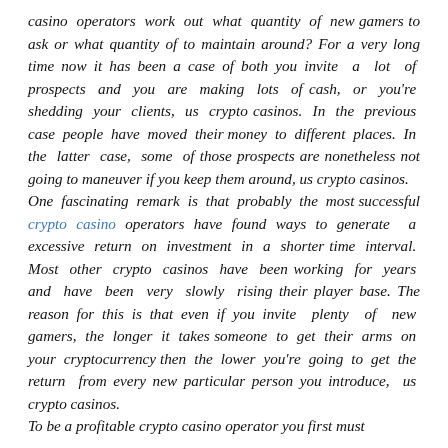casino operators work out what quantity of new gamers to ask or what quantity of to maintain around? For a very long time now it has been a case of both you invite a lot of prospects and you are making lots of cash, or you're shedding your clients, us crypto casinos. In the previous case people have moved their money to different places. In the latter case, some of those prospects are nonetheless not going to maneuver if you keep them around, us crypto casinos. One fascinating remark is that probably the most successful crypto casino operators have found ways to generate a excessive return on investment in a shorter time interval. Most other crypto casinos have been working for years and have been very slowly rising their player base. The reason for this is that even if you invite plenty of new gamers, the longer it takes someone to get their arms on your cryptocurrency then the lower you're going to get the return from every new particular person you introduce, us crypto casinos. To be a profitable crypto casino operator you first must